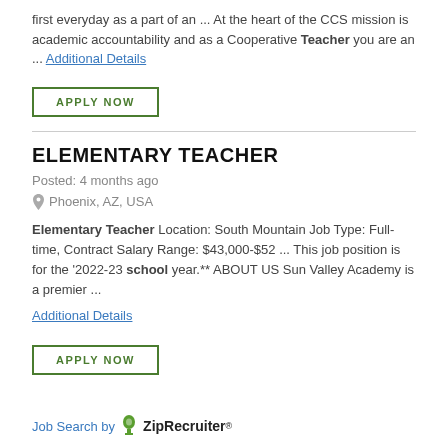first everyday as a part of an ... At the heart of the CCS mission is academic accountability and as a Cooperative Teacher you are an ... Additional Details
APPLY NOW
ELEMENTARY TEACHER
Posted: 4 months ago
Phoenix, AZ, USA
Elementary Teacher Location: South Mountain Job Type: Full-time, Contract Salary Range: $43,000-$52 ... This job position is for the '2022-23 school year.** ABOUT US Sun Valley Academy is a premier ...
Additional Details
APPLY NOW
Job Search by ZipRecruiter